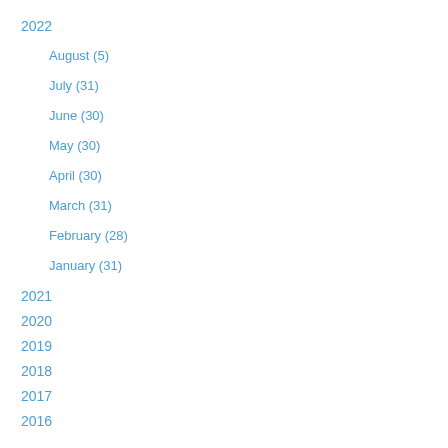2022
August (5)
July (31)
June (30)
May (30)
April (30)
March (31)
February (28)
January (31)
2021
2020
2019
2018
2017
2016
2015
2014
2013